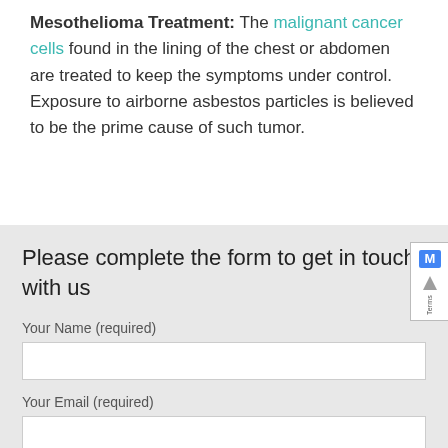Mesothelioma Treatment: The malignant cancer cells found in the lining of the chest or abdomen are treated to keep the symptoms under control. Exposure to airborne asbestos particles is believed to be the prime cause of such tumor.
Please complete the form to get in touch with us
Your Name (required)
Your Email (required)